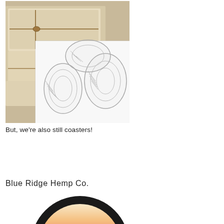[Figure (photo): Photo of wrapped beige/tan fabric packages tied with twine in a box, with a printed coaster showing a detailed pencil-style drawing of shells or feathers overlaid on top]
But, we're also still coasters!
Blue Ridge Hemp Co.
[Figure (photo): Circular badge/patch with a thick black border and a gradient pink-to-coral-to-dark sunset interior, showing a silhouette of mountains or trees at the bottom]